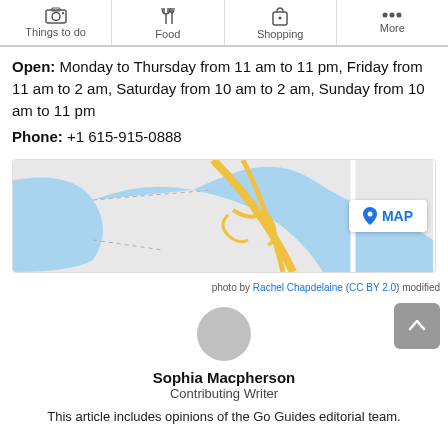Things to do | Food | Shopping | More
Open: Monday to Thursday from 11 am to 11 pm, Friday from 11 am to 2 am, Saturday from 10 am to 2 am, Sunday from 10 am to 11 pm
Phone: +1 615-915-0888
[Figure (map): Street map showing a river bend with roads and an interchange, with a MAP button overlay]
photo by Rachel Chapdelaine (CC BY 2.0) modified
[Figure (photo): Circular author avatar placeholder in grey]
Sophia Macpherson
Contributing Writer
This article includes opinions of the Go Guides editorial team.